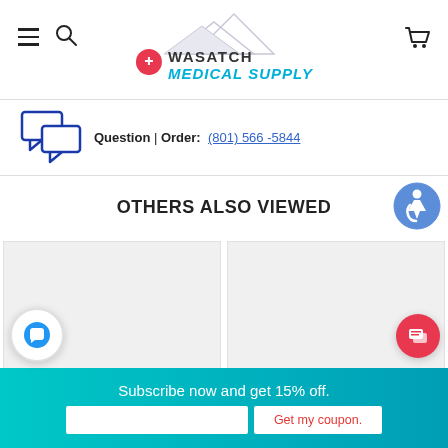[Figure (logo): Wasatch Medical Supply logo with mountain graphic, map pin with red cross, and stylized text]
Question | Order: (801) 566-5844
OTHERS ALSO VIEWED
[Figure (illustration): Accessibility icon - person in wheelchair in blue circle]
[Figure (photo): Product card image placeholder 1 (gray)]
[Figure (photo): Product card image placeholder 2 (gray)]
Subscribe now and get 15% off.
Get my coupon.